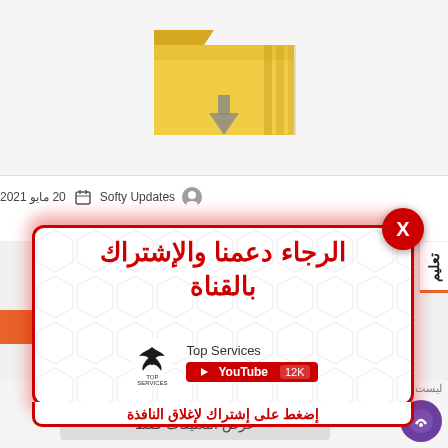[Figure (screenshot): Screenshot of a webpage showing a folder/download icon at the top, metadata bar with 'Softy Updates' and date '20 مايو 2021', a modal popup with Arabic text 'الرجاء دعمنا والإشتراك بالقناة' (Please support us and subscribe to the channel), Top Services YouTube channel info showing 12K subscribers, and instruction text 'إضغط على إشتراك لإغلاق النافذة' (Press subscribe to close the window). A red X close button is in the top right of the modal. Below the modal are comment section elements and a 'عرض التعليقات فقط' (Show comments only) button.]